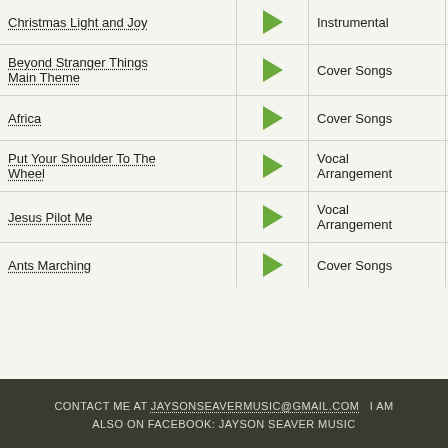| Song |  | Category | Count |
| --- | --- | --- | --- |
| Christmas Light and Joy | ▶ | Instrumental | 0 |
| Beyond Stranger Things Main Theme | ▶ | Cover Songs | 0 |
| Africa | ▶ | Cover Songs | 0 |
| Put Your Shoulder To The Wheel | ▶ | Vocal Arrangement | 2 |
| Jesus Pilot Me | ▶ | Vocal Arrangement | 2 |
| Ants Marching | ▶ | Cover Songs | 0 |
CONTACT ME AT JAYSONSEAVERMUSIC@GMAIL.COM   I AM ALSO ON FACEBOOK: JAYSON SEAVER MUSIC